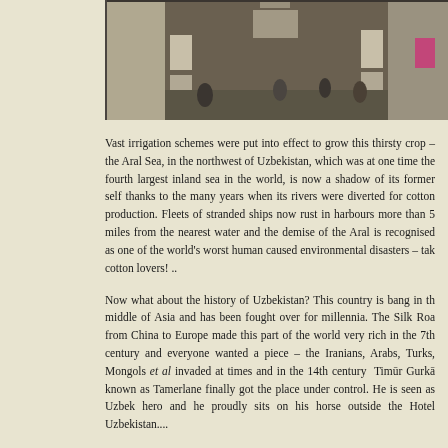[Figure (photo): Interior corridor/hallway of what appears to be a museum or exhibition space, viewed from above, with people walking and display panels on the walls.]
Vast irrigation schemes were put into effect to grow this thirsty crop – the Aral Sea, in the northwest of Uzbekistan, which was at one time the fourth largest inland sea in the world, is now a shadow of its former self thanks to the many years when its rivers were diverted for cotton production. Fleets of stranded ships now rust in harbours more than 50 miles from the nearest water and the demise of the Aral is recognised as one of the world's worst human caused environmental disasters – take note cotton lovers! ..
Now what about the history of Uzbekistan? This country is bang in the middle of Asia and has been fought over for millennia. The Silk Road from China to Europe made this part of the world very rich in the 7th century and everyone wanted a piece – the Iranians, Arabs, Turks, Mongols et al invaded at times and in the 14th century  Timūr Gurkānī known as Tamerlane finally got the place under control. He is seen as an Uzbek hero and he proudly sits on his horse outside the Hotel Uzbekistan....